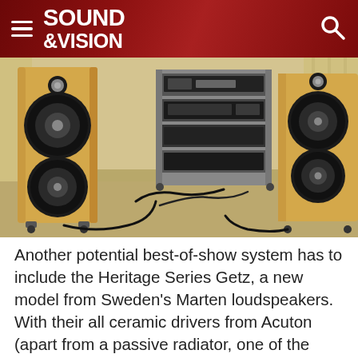Sound & Vision
[Figure (photo): Two tall floorstanding speakers with light wood cabinets and black drivers, flanking a central audio equipment rack with various components, in a large room with beige carpet and curtains in the background. Cables visible on the floor.]
Another potential best-of-show system has to include the Heritage Series Getz, a new model from Sweden's Marten loudspeakers. With their all ceramic drivers from Acuton (apart from a passive radiator, one of the large cones visible in the photo) they were very different in balance from the Sony speakers, above. Faster on their feet and even more sparklingly detailed, but less weighty and majestic